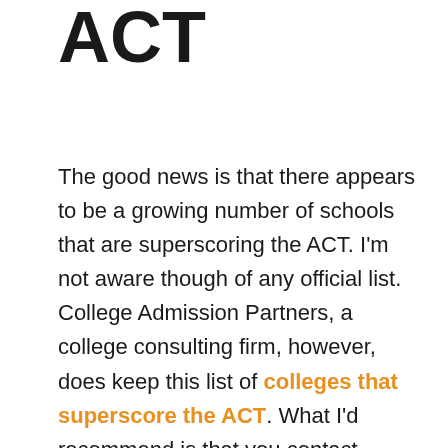ACT
The good news is that there appears to be a growing number of schools that are superscoring the ACT. I'm not aware though of any official list. College Admission Partners, a college consulting firm, however, does keep this list of colleges that superscore the ACT. What I'd recommend is that you contact schools and ask whether they superscore the ACT. Out of curiosity, I made a call to William Woods University in Fulton, Mo, which has an equine program that interests Matt. Somebody in the admission office told me the school